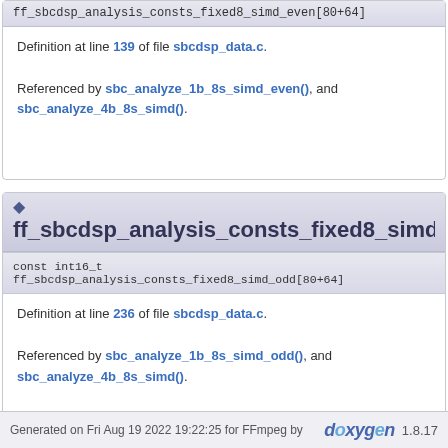const int16_t ff_sbcdsp_analysis_consts_fixed8_simd_even[80+64]
Definition at line 139 of file sbcdsp_data.c.
Referenced by sbc_analyze_1b_8s_simd_even(), and sbc_analyze_4b_8s_simd().
ff_sbcdsp_analysis_consts_fixed8_simd_odd
const int16_t ff_sbcdsp_analysis_consts_fixed8_simd_odd[80+64]
Definition at line 236 of file sbcdsp_data.c.
Referenced by sbc_analyze_1b_8s_simd_odd(), and sbc_analyze_4b_8s_simd().
Generated on Fri Aug 19 2022 19:22:25 for FFmpeg by doxygen 1.8.17